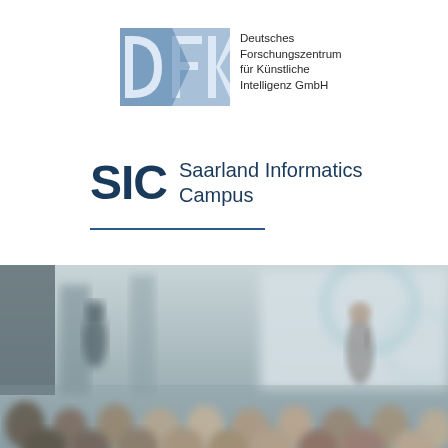[Figure (logo): DFKI logo — stylized blue DFK letter mark with text 'Deutsches Forschungszentrum für Künstliche Intelligenz GmbH']
[Figure (logo): SIC logo — bold dark blue 'SIC' letters with text 'Saarland Informatics Campus' and horizontal rule beneath]
[Figure (photo): Blurred conference/lecture scene showing audience from behind with two presenters at front]